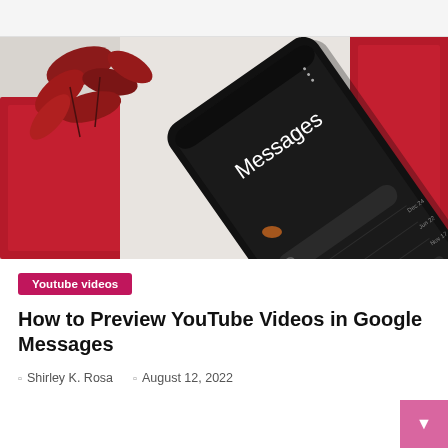[Figure (photo): A smartphone with a dark screen showing the Google Messages app, placed diagonally on a white surface beside red maple leaf decorations and a red-bordered notepad.]
Youtube videos
How to Preview YouTube Videos in Google Messages
Shirley K. Rosa   August 12, 2022